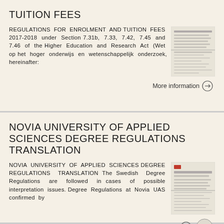TUITION FEES
REGULATIONS FOR ENROLMENT AND TUITION FEES 2017-2018 under Section 7.31b, 7.33, 7.42, 7.45 and 7.46 of the Higher Education and Research Act (Wet op het hoger onderwijs en wetenschappelijk onderzoek, hereinafter:
[Figure (illustration): Thumbnail of a document page with text lines, representing the Tuition Fees regulation document]
More information →
NOVIA UNIVERSITY OF APPLIED SCIENCES DEGREE REGULATIONS TRANSLATION
NOVIA UNIVERSITY OF APPLIED SCIENCES DEGREE REGULATIONS TRANSLATION The Swedish Degree Regulations are followed in cases of possible interpretation issues. Degree Regulations at Novia UAS confirmed by
[Figure (illustration): Thumbnail of a document page with red header and text lines, representing the Degree Regulations document]
More information →